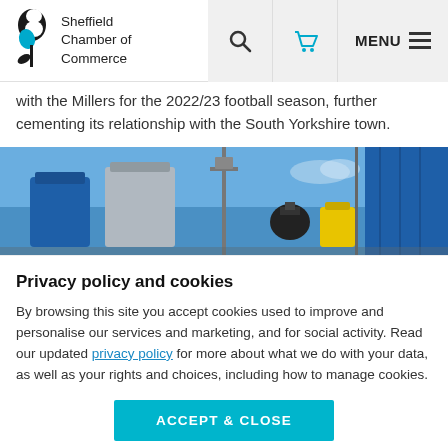Sheffield Chamber of Commerce — navigation bar with search, cart, and menu icons
with the Millers for the 2022/23 football season, further cementing its relationship with the South Yorkshire town.
[Figure (photo): Industrial scene showing blue and yellow tanks/equipment against a blue sky with metal structures and poles.]
Privacy policy and cookies
By browsing this site you accept cookies used to improve and personalise our services and marketing, and for social activity. Read our updated privacy policy for more about what we do with your data, as well as your rights and choices, including how to manage cookies.